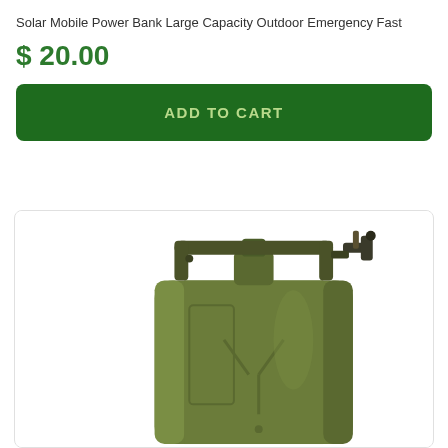Solar Mobile Power Bank Large Capacity Outdoor Emergency Fast
$ 20.00
ADD TO CART
[Figure (photo): Green military-style jerry can (fuel canister) with metal handle and closure mechanism, photographed from a three-quarter angle on white background]